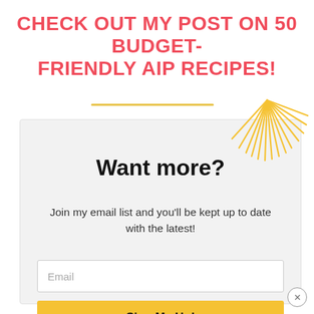CHECK OUT MY POST ON 50 BUDGET-FRIENDLY AIP RECIPES!
[Figure (illustration): Yellow horizontal divider line]
[Figure (illustration): Sunburst/starburst decorative graphic in gold/yellow color, top-right of card]
Want more?
Join my email list and you'll be kept up to date with the latest!
Email
Sign Me Up!